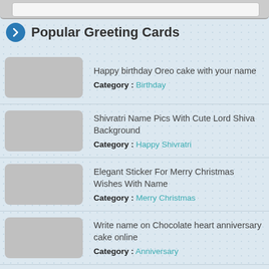Popular Greeting Cards
Happy birthday Oreo cake with your name | Category: Birthday
Shivratri Name Pics With Cute Lord Shiva Background | Category: Happy Shivratri
Elegant Sticker For Merry Christmas Wishes With Name | Category: Merry Christmas
Write name on Chocolate heart anniversary cake online | Category: Anniversary